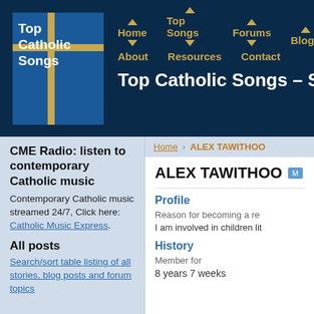Top Catholic Songs — navigation header with logo, Home, Top Songs, Forums, Blogs, About, Resources, Contact — Top Catholic Songs – S
Home › ALEX TAWITHOO
CME Radio: listen to contemporary Catholic music
Contemporary Catholic music streamed 24/7, Click here: Catholic Music Express.
All posts
Search/sort table listing of all stories, blog posts and forum topics
ALEX TAWITHOO
Profile
Reason for becoming a re
I am involved in children lit
History
Member for
8 years 7 weeks